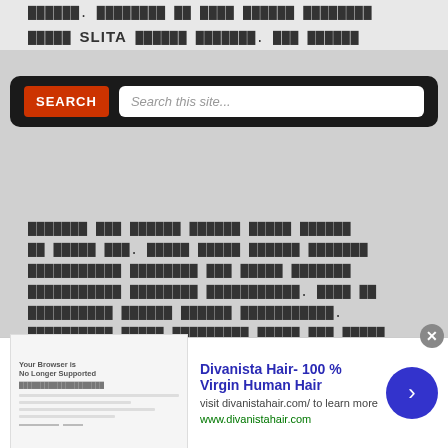[Non-Latin script text] SLITA [Non-Latin script text]
[Figure (screenshot): Search bar overlay with dark background, red SEARCH button on left, and white search input box with placeholder 'Search this site...']
[Non-Latin script paragraph text - multi-line body content]
[Figure (screenshot): Advertisement banner for Divanista Hair- 100% Virgin Human Hair. Shows thumbnail with 'Your Browser is No Longer Supported' message, ad title in blue, subtitle and URL in green, and blue circular arrow button on right.]